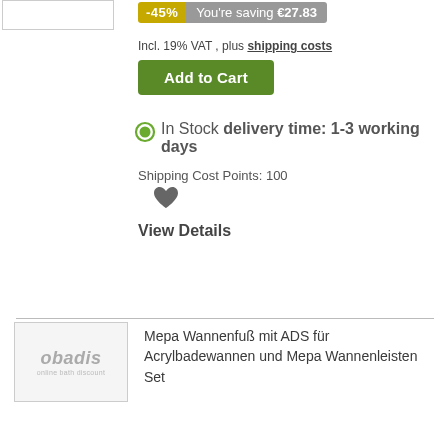[Figure (other): Small product image box (white rectangle with border) in top left]
-45% You're saving €27.83
Incl. 19% VAT , plus shipping costs
Add to Cart
In Stock delivery time: 1-3 working days
Shipping Cost Points: 100
[Figure (illustration): Heart (favorites) icon]
View Details
[Figure (logo): Obadis online bath discount logo placeholder image]
Mepa Wannenfuß mit ADS für Acrylbadewannen und Mepa Wannenleisten Set